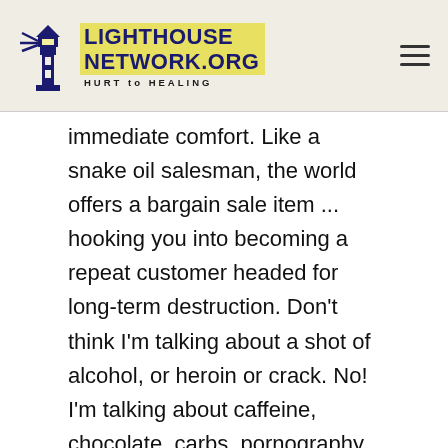Lighthouse Network.org — Hurt to Healing
immediate comfort. Like a snake oil salesman, the world offers a bargain sale item ... hooking you into becoming a repeat customer headed for long-term destruction. Don't think I'm talking about a shot of alcohol, or heroin or crack. No! I'm talking about caffeine, chocolate, carbs, pornography, racy novels, or other escape/numbing quick fixes. Learn to go to your Lord and depend on Him first. When you turn to Him your weakness will be